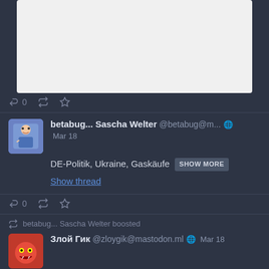[Figure (screenshot): White image placeholder at the top of the page]
0 (reply count)
betabug... Sascha Welter @betabug@m... Mar 18
DE-Politik, Ukraine, Gaskäufe SHOW MORE
Show thread
0 (reply count)
betabug... Sascha Welter boosted
Злой Гик @zloygik@mastodon.ml Mar 18
Украинские разработчики пишут, что Steam приостановил им выплаты.

Ещё раз - Steam приостановил выплаты разработчикам ИЗ УКРАИНЫ.